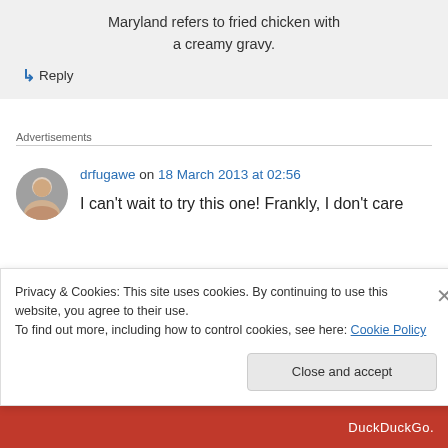Maryland refers to fried chicken with a creamy gravy.
↳ Reply
Advertisements
drfugawe on 18 March 2013 at 02:56
I can't wait to try this one! Frankly, I don't care
Privacy & Cookies: This site uses cookies. By continuing to use this website, you agree to their use.
To find out more, including how to control cookies, see here: Cookie Policy
Close and accept